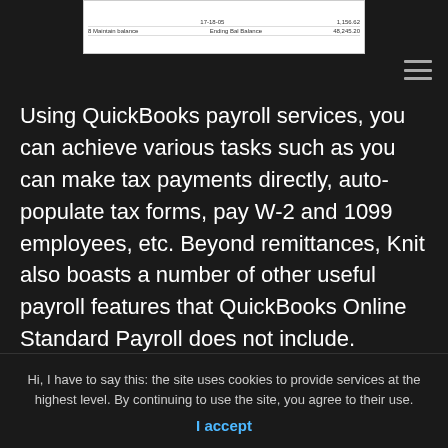[Figure (screenshot): Screenshot of a QuickBooks-style financial table showing rows with balance data including columns for dates, descriptions, and dollar amounts]
Using QuickBooks payroll services, you can achieve various tasks such as you can make tax payments directly, auto-populate tax forms, pay W-2 and 1099 employees, etc. Beyond remittances, Knit also boasts a number of other useful payroll features that QuickBooks Online Standard Payroll does not include. Additionally, if you don't use QuickBooks Payroll with a QuickBooks Online subscription, you have no third-party
Hi, I have to say this: the site uses cookies to provide services at the highest level. By continuing to use the site, you agree to their use.
I accept